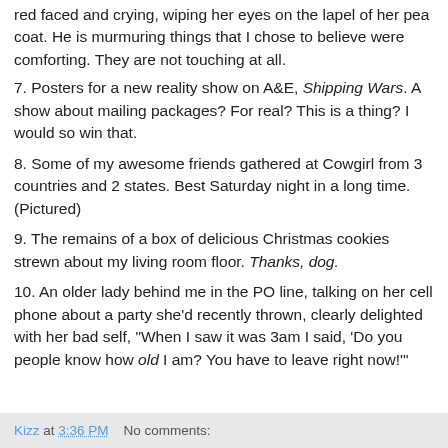red faced and crying, wiping her eyes on the lapel of her pea coat. He is murmuring things that I chose to believe were comforting. They are not touching at all.
7. Posters for a new reality show on A&E, Shipping Wars. A show about mailing packages? For real? This is a thing? I would so win that.
8. Some of my awesome friends gathered at Cowgirl from 3 countries and 2 states. Best Saturday night in a long time. (Pictured)
9. The remains of a box of delicious Christmas cookies strewn about my living room floor. Thanks, dog.
10. An older lady behind me in the PO line, talking on her cell phone about a party she'd recently thrown, clearly delighted with her bad self, "When I saw it was 3am I said, 'Do you people know how old I am? You have to leave right now!'"
Kizz at 3:36 PM   No comments: